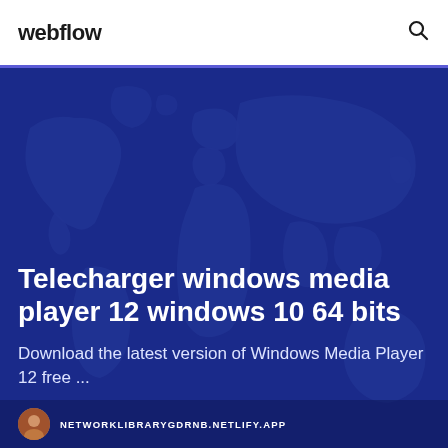webflow
[Figure (illustration): Dark blue world map background illustration used as hero image backdrop]
Telecharger windows media player 12 windows 10 64 bits
Download the latest version of Windows Media Player 12 free ...
NETWORKLIBRARYGDRNB.NETLIFY.APP